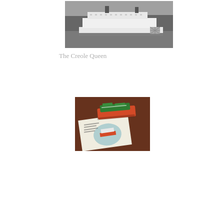[Figure (photo): Black and white photograph of the Creole Queen paddleboat steamship on a river with trees in the background]
The Creole Queen
[Figure (photo): Color photograph of a model/souvenir of a steamboat on a wood table surface, alongside printed cruise ship literature/brochure]